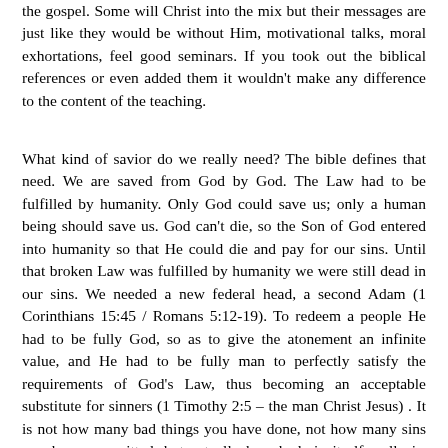the gospel. Some will Christ into the mix but their messages are just like they would be without Him, motivational talks, moral exhortations, feel good seminars. If you took out the biblical references or even added them it wouldn't make any difference to the content of the teaching.
What kind of savior do we really need? The bible defines that need. We are saved from God by God. The Law had to be fulfilled by humanity. Only God could save us; only a human being should save us. God can't die, so the Son of God entered into humanity so that He could die and pay for our sins. Until that broken Law was fulfilled by humanity we were still dead in our sins. We needed a new federal head, a second Adam (1 Corinthians 15:45 / Romans 5:12-19). To redeem a people He had to be fully God, so as to give the atonement an infinite value, and He had to be fully man to perfectly satisfy the requirements of God's Law, thus becoming an acceptable substitute for sinners (1 Timothy 2:5 – the man Christ Jesus) . It is not how many bad things you have done, not how many sins you have committed, but actually how bad sin itself really is. God's glory was demonstrated at the cross by showing that God's Law really did require a penalty for transgressions against it (Romans